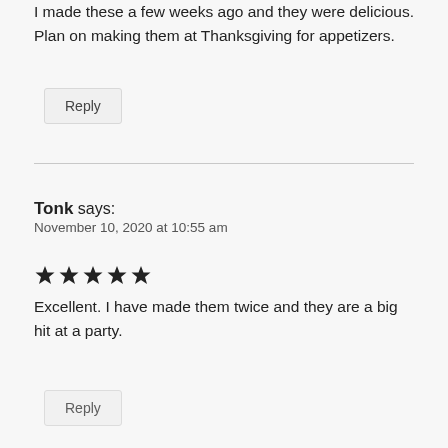I made these a few weeks ago and they were delicious. Plan on making them at Thanksgiving for appetizers.
Reply
Tonk says:
November 10, 2020 at 10:55 am
[Figure (other): 5 filled star rating icons]
Excellent. I have made them twice and they are a big hit at a party.
Reply